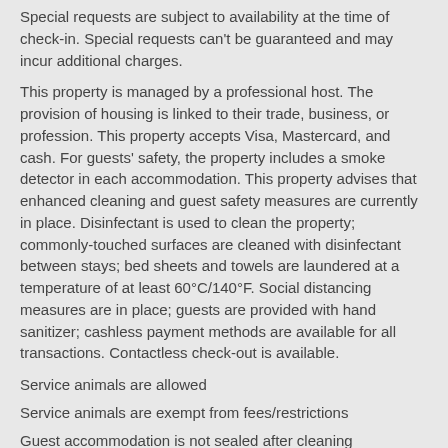Special requests are subject to availability at the time of check-in. Special requests can't be guaranteed and may incur additional charges.
This property is managed by a professional host. The provision of housing is linked to their trade, business, or profession. This property accepts Visa, Mastercard, and cash. For guests' safety, the property includes a smoke detector in each accommodation. This property advises that enhanced cleaning and guest safety measures are currently in place. Disinfectant is used to clean the property; commonly-touched surfaces are cleaned with disinfectant between stays; bed sheets and towels are laundered at a temperature of at least 60°C/140°F. Social distancing measures are in place; guests are provided with hand sanitizer; cashless payment methods are available for all transactions. Contactless check-out is available.
Service animals are allowed
Service animals are exempt from fees/restrictions
Guest accommodation is not sealed after cleaning
Electrostatic spray is not used for disinfection
Cashless transactions are available
Staff temperature checks are not conducted regularly
Temperature checks are not available to guests
Masks are not compulsory at the property
Body temperature of housekeeping staff is not checked